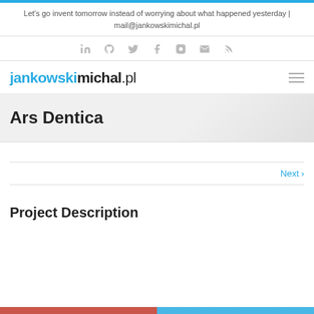Let's go invent tomorrow instead of worrying about what happened yesterday | mail@jankowskimichal.pl
[Figure (infographic): Social media icons row: LinkedIn, GitHub, Twitter, Facebook, Instagram, Email, RSS]
jankowskimichal.pl — logo and hamburger menu
Ars Dentica
Next >
Project Description